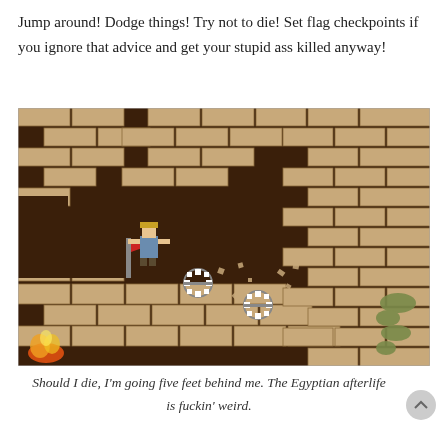Jump around! Dodge things! Try not to die! Set flag checkpoints if you ignore that advice and get your stupid ass killed anyway!
[Figure (screenshot): Pixel-art retro platformer game screenshot showing a character with a red flag checkpoint on a dark brick wall level. Spinning saw blades and projectiles are visible. Fire burns in the bottom-left corner. The level has tan/cream colored brick platforms and dark brown brick walls.]
Should I die, I'm going five feet behind me. The Egyptian afterlife is fuckin' weird.